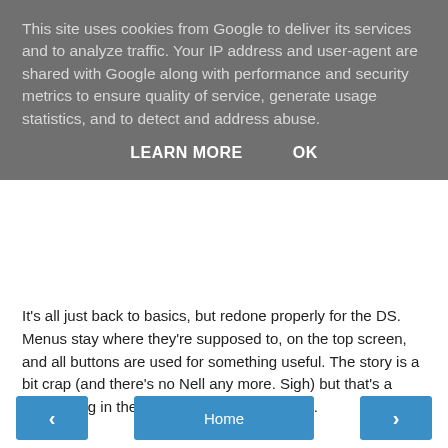This site uses cookies from Google to deliver its services and to analyze traffic. Your IP address and user-agent are shared with Google along with performance and security metrics to ensure quality of service, generate usage statistics, and to detect and address abuse.
LEARN MORE   OK
It's all just back to basics, but redone properly for the DS. Menus stay where they're supposed to, on the top screen, and all buttons are used for something useful. The story is a bit crap (and there's no Nell any more. Sigh) but that's a minor thing in the general glory of this game.
Posted at 11:26
Share
‹
Home
›